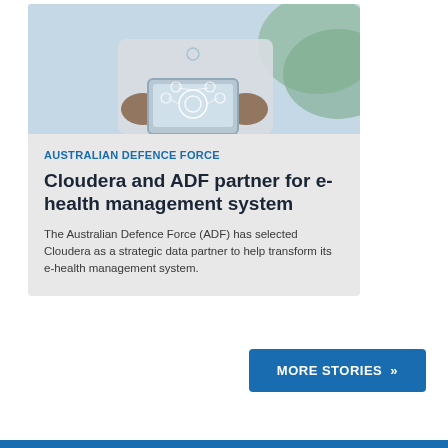[Figure (photo): Person in white lab coat holding a tablet with digital health icons and network overlay, tech/medical theme]
AUSTRALIAN DEFENCE FORCE
Cloudera and ADF partner for e-health management system
The Australian Defence Force (ADF) has selected Cloudera as a strategic data partner to help transform its e-health management system.
MORE STORIES »